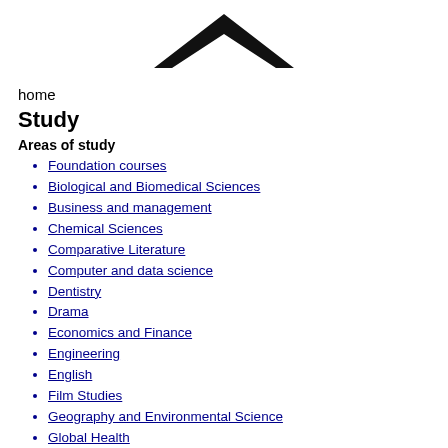[Figure (illustration): Black chevron/caret up arrow symbol centered at top of page]
home
Study
Areas of study
Foundation courses
Biological and Biomedical Sciences
Business and management
Chemical Sciences
Comparative Literature
Computer and data science
Dentistry
Drama
Economics and Finance
Engineering
English
Film Studies
Geography and Environmental Science
Global Health
History